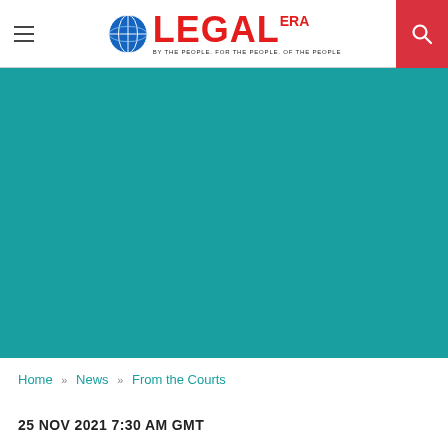Legal Era — By The People. For The People. Of The People.
[Figure (illustration): Teal/blue-green banner image area — large colored rectangle serving as article hero image background]
Home » News » From the Courts
25 NOV 2021 7:30 AM GMT